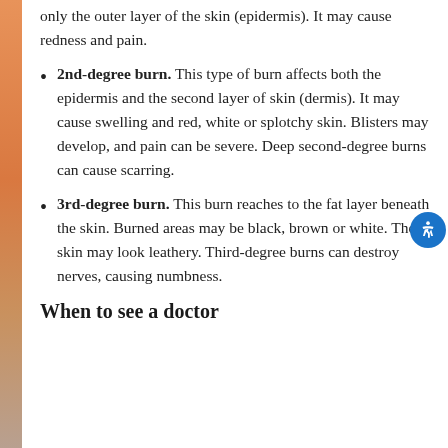only the outer layer of the skin (epidermis). It may cause redness and pain.
2nd-degree burn. This type of burn affects both the epidermis and the second layer of skin (dermis). It may cause swelling and red, white or splotchy skin. Blisters may develop, and pain can be severe. Deep second-degree burns can cause scarring.
3rd-degree burn. This burn reaches to the fat layer beneath the skin. Burned areas may be black, brown or white. The skin may look leathery. Third-degree burns can destroy nerves, causing numbness.
When to see a doctor